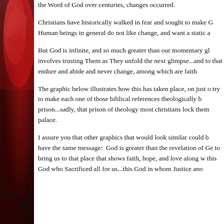[Figure (photo): Left-side partial image showing what appears to be a decorative red and dark-toned object, possibly a mosaic or textile pattern, with birds visible at the bottom.]
the Word of God over centuries, changes occurred.
Christians have historically walked in fear and sought to make G Human beings in general do not like change, and want a static a
But God is infinite, and so much greater than our momentary gl involves trusting Them as They unfold the next glimpse...and to that endure and abide and never change, among which are faith
The graphic below illustrates how this has taken place, on just o try to make each one of those biblical references theologically b prison...sadly, that prison of theology most christians lock them palace.
I assure you that other graphics that would look similar could b have the same message:  God is greater than the revelation of Ge to bring us to that place that shows faith, hope, and love along w this God who Sacrificed all for us...this God in whom Justice ano